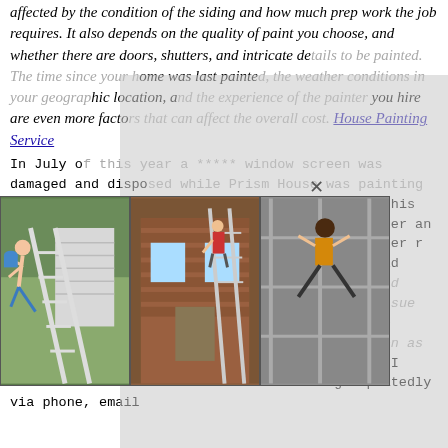affected by the condition of the siding and how much prep work the job requires. It also depends on the quality of paint you choose, and whether there are doors, shutters, and intricate details to be painted. The time since your home was last painted, the weather conditions in your geographic location, and the experience of the painter you hire are even more factors that can affect the overall cost. House Painting Service
In July of this year a ***** window screen was damaged and disposed while Prism House was painting our home. The owner they first tried making ever, this screen is it won't even stay er was made aware er an exact repl through by Prism H forwarded the order r September. At this time, the owner said he would order the screen. No screen has been ordered and Prism House remains unresponsive. The second issue that I am looking to resolve is one of moisture bubbles that appeared on our side door - as soon as the exterior painting was considered complete. I have reached out the Prism House Painting repeatedly via phone, email
[Figure (photo): Three side-by-side photos showing house painting scenes: left photo shows a person falling from a ladder near a house with white siding, middle photo shows a person on a ladder painting a brick house, right photo shows a person jumping or falling near scaffolding.]